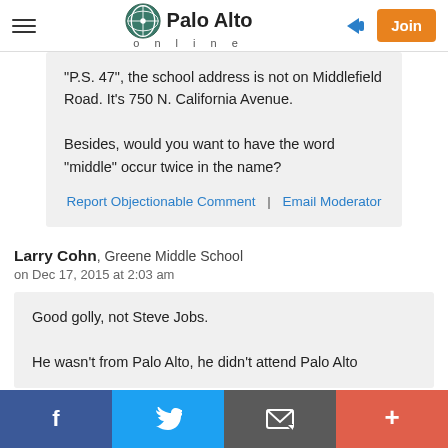Palo Alto online
"P.S. 47", the school address is not on Middlefield Road. It's 750 N. California Avenue.

Besides, would you want to have the word "middle" occur twice in the name?
Report Objectionable Comment | Email Moderator
Larry Cohn, Greene Middle School
on Dec 17, 2015 at 2:03 am
Good golly, not Steve Jobs.

He wasn't from Palo Alto, he didn't attend Palo Alto
Facebook | Twitter | Email | Plus